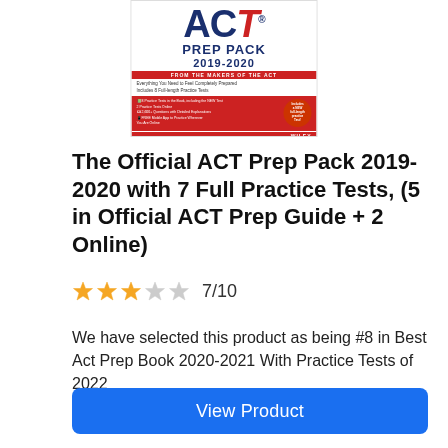[Figure (photo): Book cover of 'ACT Prep Pack 2019-2020' published by Wiley, featuring the ACT logo at top, red band with 'FROM THE MAKERS OF THE ACT', bullet points listing features, and a red sticker indicating a new full-length practice test.]
The Official ACT Prep Pack 2019-2020 with 7 Full Practice Tests, (5 in Official ACT Prep Guide + 2 Online)
7/10
We have selected this product as being #8 in Best Act Prep Book 2020-2021 With Practice Tests of 2022